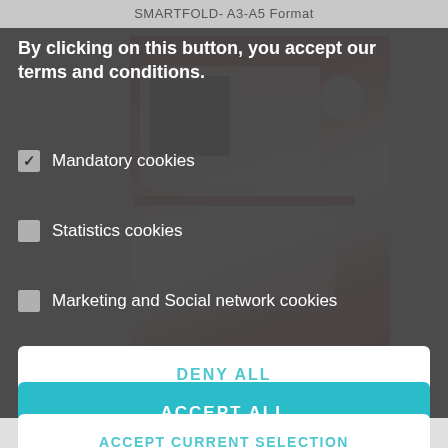SMARTFOLD- A3-A5 Format
By clicking on this button, you accept our terms and conditions.
Mandatory cookies
Statistics cookies
Marketing and Social network cookies
DENY ALL
ACCEPT CURRENT SELECTION
ACCEPT ALL
Mini Athos